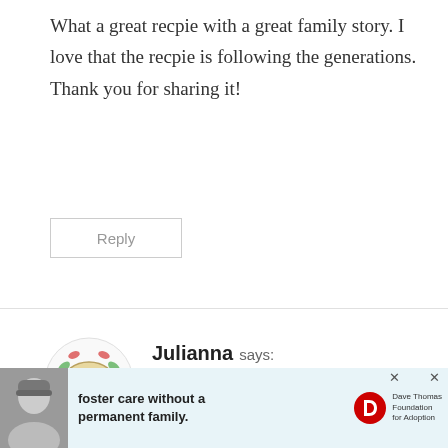What a great recpie with a great family story. I love that the recpie is following the generations. Thank you for sharing it!
Reply
Julianna says:
at
[Figure (logo): Foodie on Board circular logo with floral wreath]
Susan,
r recipe looks and sounds so amazing! My husband and I are on an Italian kick right now, so this
[Figure (screenshot): Advertisement banner: foster care without a permanent family - Dave Thomas Foundation for Adoption]